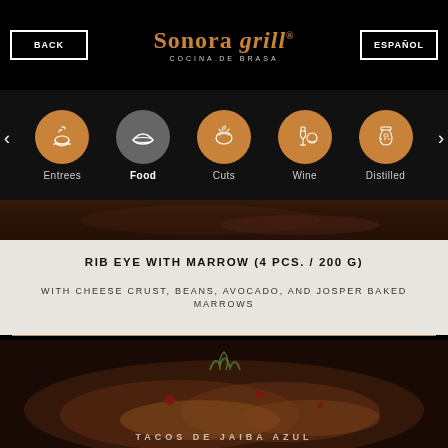BACK | Sonora Grill COCINA DE BRASA | ESPAÑOL
[Figure (infographic): Navigation menu with category icons: Entrees (bowl with steam), Food (taco - active/gray), Cuts (meat), Wine (bottle and glass), Distilled (bottle). Arrow navigation on sides.]
[Figure (photo): Partial food image at top of content area - dark background]
RIB EYE WITH MARROW (4 PCS. / 200 G)
WITH CHEESE CRUST, BEANS, AVOCADO, AND JOSPER BAKED MARROWS
[Figure (photo): Close-up photo of food item (tacos de jaiba azul) with micro greens, red garnish, on a dark background]